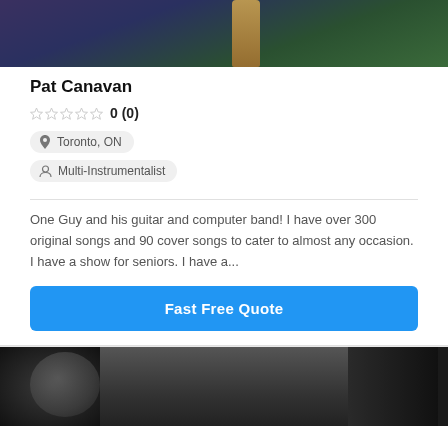[Figure (photo): Photo of Pat Canavan playing guitar, wearing a dark blue jacket, with green background]
Pat Canavan
0 (0)
Toronto, ON
Multi-Instrumentalist
One Guy and his guitar and computer band! I have over 300 original songs and 90 cover songs to cater to almost any occasion. I have a show for seniors. I have a...
Fast Free Quote
[Figure (photo): Black and white photo of a man performing, looking upward with microphone]